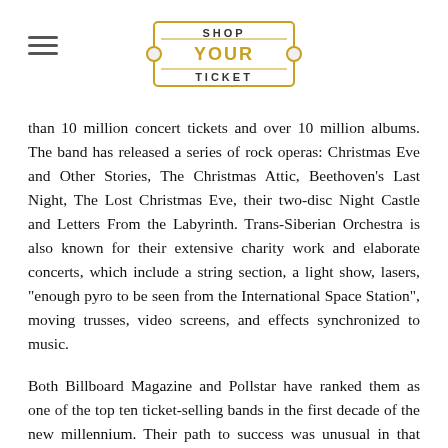SHOP YOUR TICKET
than 10 million concert tickets and over 10 million albums. The band has released a series of rock operas: Christmas Eve and Other Stories, The Christmas Attic, Beethoven's Last Night, The Lost Christmas Eve, their two-disc Night Castle and Letters From the Labyrinth. Trans-Siberian Orchestra is also known for their extensive charity work and elaborate concerts, which include a string section, a light show, lasers, "enough pyro to be seen from the International Space Station", moving trusses, video screens, and effects synchronized to music.
Both Billboard Magazine and Pollstar have ranked them as one of the top ten ticket-selling bands in the first decade of the new millennium. Their path to success was unusual in that TSO is the first major rock band to go straight to theaters and arenas, having never played at a club, never having an opening act and never being an opening act. O'Neill died on April 5, 2017...